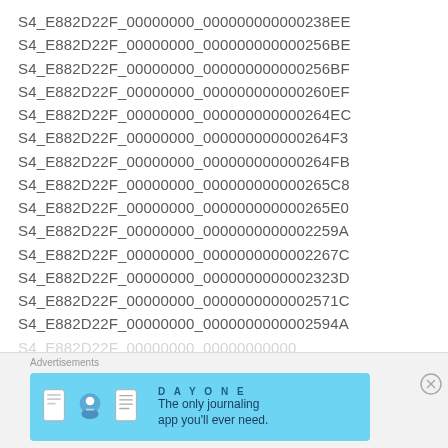S4_E882D22F_00000000_000000000000238EE
S4_E882D22F_00000000_000000000000256BE
S4_E882D22F_00000000_000000000000256BF
S4_E882D22F_00000000_000000000000260EF
S4_E882D22F_00000000_000000000000264EC
S4_E882D22F_00000000_000000000000264F3
S4_E882D22F_00000000_000000000000264FB
S4_E882D22F_00000000_000000000000265C8
S4_E882D22F_00000000_000000000000265E0
S4_E882D22F_00000000_0000000000002259A
S4_E882D22F_00000000_0000000000002267C
S4_E882D22F_00000000_0000000000002323D
S4_E882D22F_00000000_0000000000002571C
S4_E882D22F_00000000_0000000000002594A
[Figure (screenshot): Advertisement banner for Day One journaling app with blue background and icons]